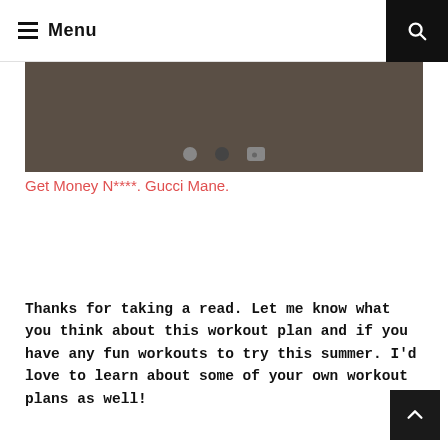Menu
[Figure (photo): Dark brownish-gray image area (partial, top cropped) with navigation dots below showing carousel indicators]
Get Money N****. Gucci Mane.
Thanks for taking a read. Let me know what you think about this workout plan and if you have any fun workouts to try this summer. I’d love to learn about some of your own workout plans as well!